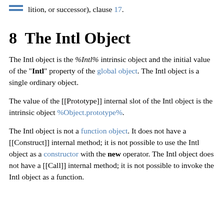lition, or successor), clause 17.
8  The Intl Object
The Intl object is the %Intl% intrinsic object and the initial value of the "Intl" property of the global object. The Intl object is a single ordinary object.
The value of the [[Prototype]] internal slot of the Intl object is the intrinsic object %Object.prototype%.
The Intl object is not a function object. It does not have a [[Construct]] internal method; it is not possible to use the Intl object as a constructor with the new operator. The Intl object does not have a [[Call]] internal method; it is not possible to invoke the Intl object as a function.